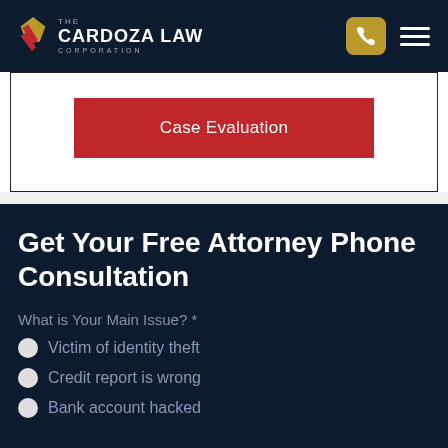[Figure (logo): The Cardoza Law Corporation logo with stylized red and gold icon on dark navy header, phone icon button and hamburger menu]
[Figure (other): Red 'Case Evaluation' button on white card section]
Get Your Free Attorney Phone Consultation
What is Your Main Issue? *
Victim of identity theft
Credit report is wrong
Bank account hacked